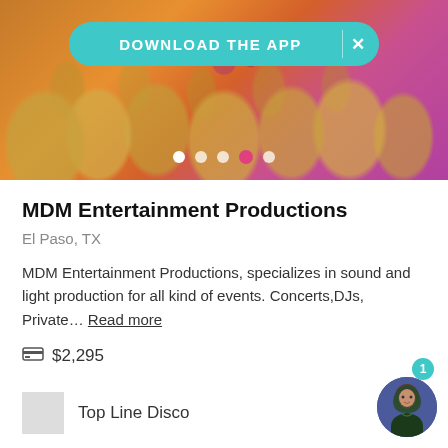[Figure (photo): Banquet hall with golden chair covers and warm lighting, with a teal 'Download the App' banner overlay and carousel navigation dots]
MDM Entertainment Productions
El Paso, TX
MDM Entertainment Productions, specializes in sound and light production for all kind of events. Concerts,DJs, Private… Read more
$2,295
Request pricing
Top Line Disco